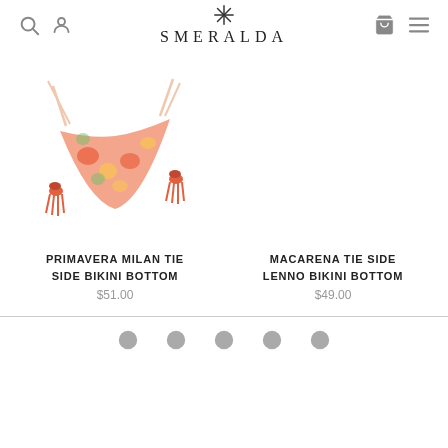SMERALDA
[Figure (photo): Primavera Milan Tie Side Bikini Bottom - pink floral pattern with coral tassels on each side tie]
PRIMAVERA MILAN TIE SIDE BIKINI BOTTOM
$51.00
MACARENA TIE SIDE LENNO BIKINI BOTTOM
$49.00